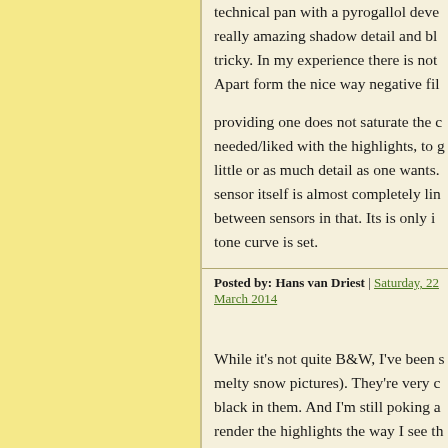technical pan with a pyrogallol deve really amazing shadow detail and bl tricky. In my experience there is not Apart form the nice way negative fil
providing one does not saturate the c needed/liked with the highlights, to g little or as much detail as one wants. sensor itself is almost completely lin between sensors in that. Its is only i tone curve is set.
Posted by: Hans van Driest | Saturday, 22 March 2014
While it's not quite B&W, I've been s melty snow pictures). They're very c black in them. And I'm still poking a render the highlights the way I see th processing, really).